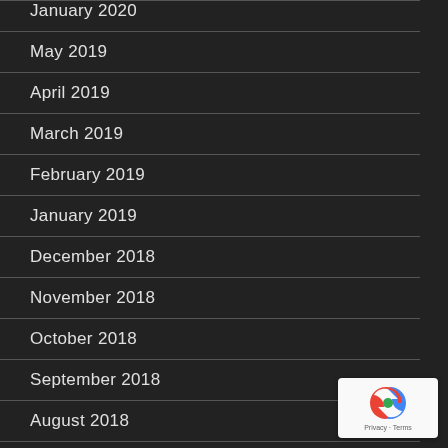January 2020 (partial)
May 2019
April 2019
March 2019
February 2019
January 2019
December 2018
November 2018
October 2018
September 2018
August 2018
July 2018
[Figure (logo): reCAPTCHA badge with Privacy and Terms links]